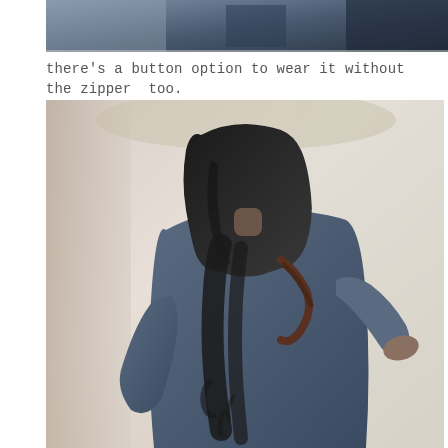[Figure (photo): Partial top photo showing close-up of dark navy/black jacket with zipper detail, cropped at top of page]
there’s a button option to wear it without the zipper  too.
[Figure (photo): Person viewed from behind wearing a navy blue hooded jacket/coat with a large black decorative or painted design on the back, hood pulled up, standing in front of a light-colored fabric backdrop]